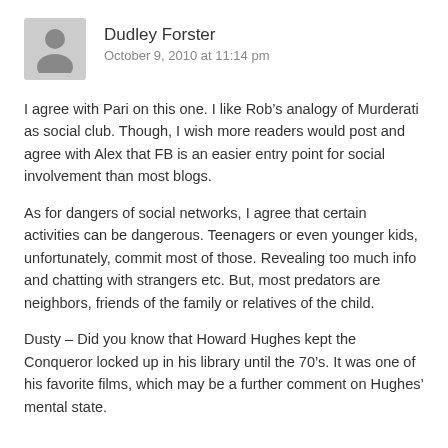[Figure (illustration): Grey placeholder avatar icon of a person silhouette]
Dudley Forster
October 9, 2010 at 11:14 pm
I agree with Pari on this one. I like Rob’s analogy of Murderati as social club. Though, I wish more readers would post and agree with Alex that FB is an easier entry point for social involvement than most blogs.
As for dangers of social networks, I agree that certain activities can be dangerous. Teenagers or even younger kids, unfortunately, commit most of those. Revealing too much info and chatting with strangers etc. But, most predators are neighbors, friends of the family or relatives of the child.
Dusty – Did you know that Howard Hughes kept the Conqueror locked up in his library until the 70’s. It was one of his favorite films, which may be a further comment on Hughes’ mental state.